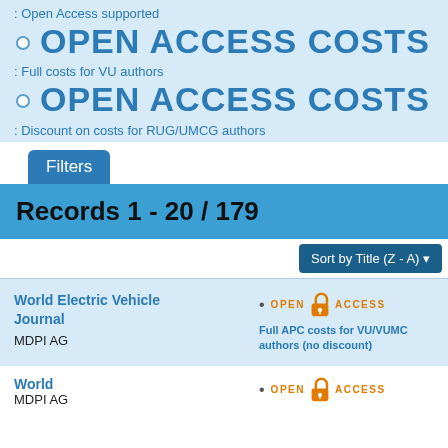Open Access supported
OPEN ACCESS COSTS
Full costs for VU authors
OPEN ACCESS COSTS
Discount on costs for RUG/UMCG authors
Filters
Records 1 - 20 / 179
Sort by Title (Z - A)
World Electric Vehicle Journal
MDPI AG
Full APC costs for VU/VUMC authors (no discount)
World
MDPI AG